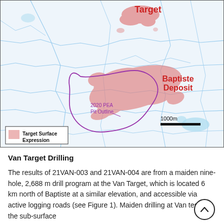[Figure (map): Geological map showing the Van Target (top, labeled in red) and Baptiste Deposit (center-right, labeled in red), with 2020 PEA Pit Outline marked in purple, and Target Surface Expression shown as pink shaded areas. Blue lines represent waterways/topographic features. A scale bar of 1000m is shown at lower right. A legend box at lower left shows Target Surface Expression (pink swatch).]
Van Target Drilling
The results of 21VAN-003 and 21VAN-004 are from a maiden nine-hole, 2,688 m drill program at the Van Target, which is located 6 km north of Baptiste at a similar elevation, and accessible via active logging roads (see Figure 1). Maiden drilling at Van tested the sub-surface